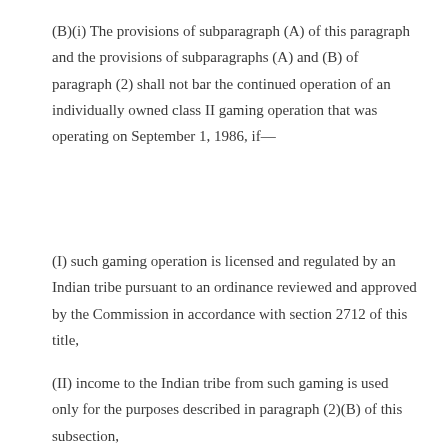(B)(i) The provisions of subparagraph (A) of this paragraph and the provisions of subparagraphs (A) and (B) of paragraph (2) shall not bar the continued operation of an individually owned class II gaming operation that was operating on September 1, 1986, if—
(I) such gaming operation is licensed and regulated by an Indian tribe pursuant to an ordinance reviewed and approved by the Commission in accordance with section 2712 of this title,
(II) income to the Indian tribe from such gaming is used only for the purposes described in paragraph (2)(B) of this subsection,